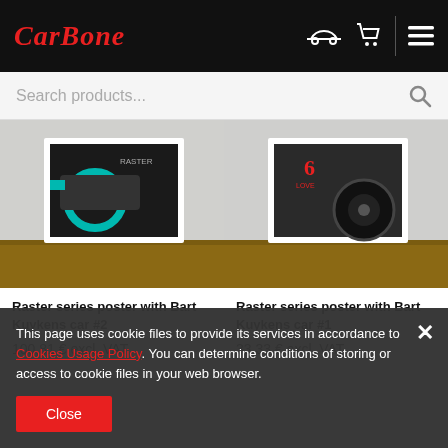CarBone
Search products...
[Figure (photo): Raster series car poster #2 leaning against a wall]
Raster series poster with Bart Kuykens car #2
100,81 € excl. VAT
[Figure (photo): Raster series car poster #1 leaning against a wall]
Raster series poster with Bart Kuykens car #1
33,33 € excl. VAT
This page uses cookie files to provide its services in accordance to Cookies Usage Policy. You can determine conditions of storing or access to cookie files in your web browser.
Close